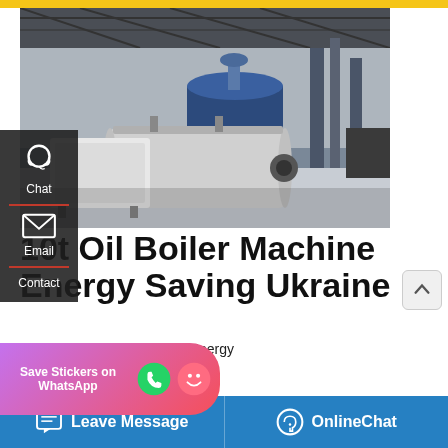[Figure (photo): Industrial boiler room with large cylindrical oil boilers, pipes, and equipment in a factory setting]
[Figure (other): Left sidebar with chat icon, Chat label, email icon, Email label, Contact label]
10t Oil Boiler Machine Energy Saving Ukraine
1t Manufacturers Ukraine - Energy boiler single tube Industrial Oil
[Figure (other): Save Stickers on WhatsApp popup with phone and emoji icons]
Leave Message    OnlineChat